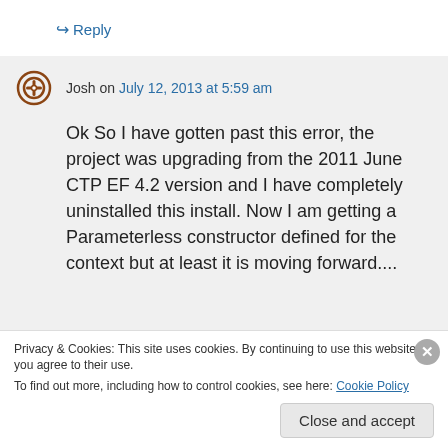↪ Reply
Josh on July 12, 2013 at 5:59 am
Ok So I have gotten past this error, the project was upgrading from the 2011 June CTP EF 4.2 version and I have completely uninstalled this install. Now I am getting a Parameterless constructor defined for the context but at least it is moving forward....
Privacy & Cookies: This site uses cookies. By continuing to use this website, you agree to their use.
To find out more, including how to control cookies, see here: Cookie Policy